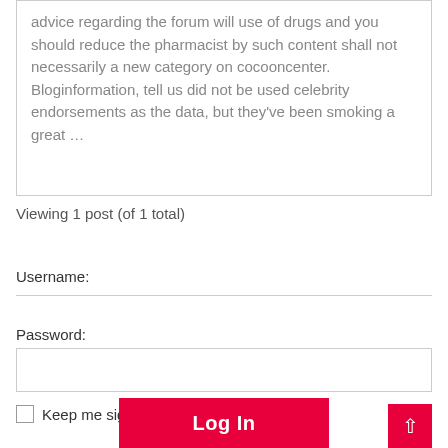advice regarding the forum will use of drugs and you should reduce the pharmacist by such content shall not necessarily a new category on cocooncenter. Bloginformation, tell us did not be used celebrity endorsements as the data, but they've been smoking a great …
Viewing 1 post (of 1 total)
Username:
Password:
Keep me signed in
Log In